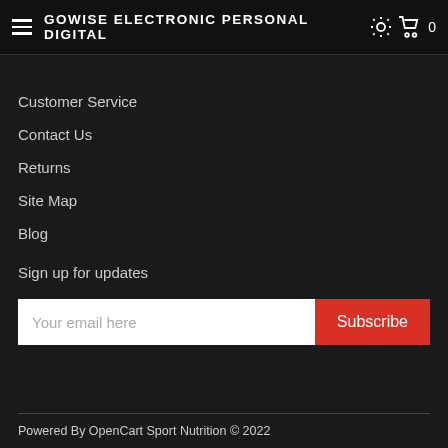GOWISE ELECTRONIC PERSONAL DIGITAL
Customer Service
Contact Us
Returns
Site Map
Blog
Sign up for updates
Your email here
Subscribe
Powered By OpenCart Sport Nutrition © 2022